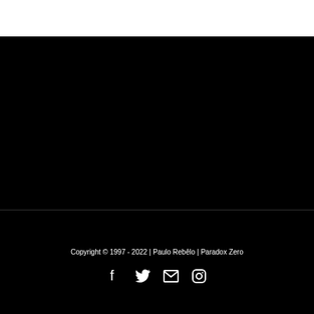Copyright © 1997 - 2022 | Paulo Rebêlo | Paradox Zero
[Figure (other): Social media icons: Facebook, Twitter, Email/Envelope, Instagram]